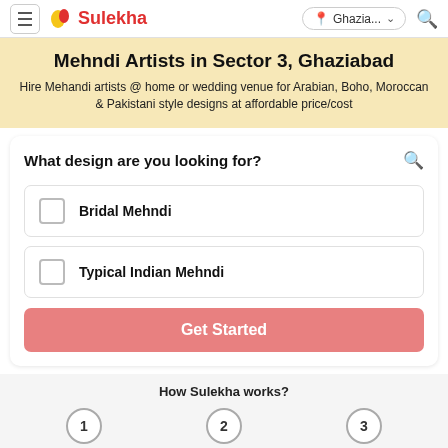Sulekha — Ghazia... (location) — Search
Mehndi Artists in Sector 3, Ghaziabad
Hire Mehandi artists @ home or wedding venue for Arabian, Boho, Moroccan & Pakistani style designs at affordable price/cost
What design are you looking for?
Bridal Mehndi
Typical Indian Mehndi
Get Started
How Sulekha works?
1  2  3